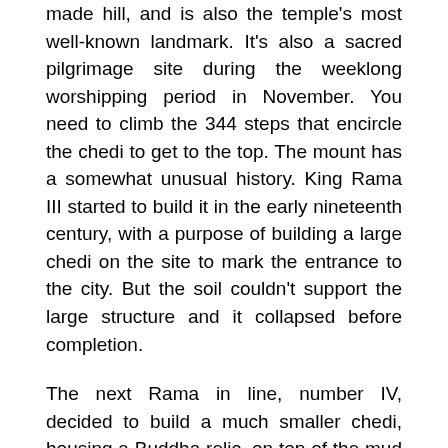The Golden Mount at Wat Saket is built on an artificial man-made hill, and is also the temple's most well-known landmark. It's also a sacred pilgrimage site during the weeklong worshipping period in November. You need to climb the 344 steps that encircle the chedi to get to the top. The mount has a somewhat unusual history. King Rama III started to build it in the early nineteenth century, with a purpose of building a large chedi on the site to mark the entrance to the city. But the soil couldn't support the large structure and it collapsed before completion.
The next Rama in line, number IV, decided to build a much smaller chedi, housing a Buddha relic, on top of the mud and brick mound from the collapse. But it doesn't stop there as Rama V decided to participate in building the structure. He rebuilt the pagoda towards the end of the nineteenth century. A relic of the Buddha was brought from Sri Lanka and placed in the chedi. The surrounding concrete walls were added in the 1940s to stop the hill from eroding. The modern Wat Saket you see today was built in the early 20th century of Carrara marble. Although the top of the mount has been encased in